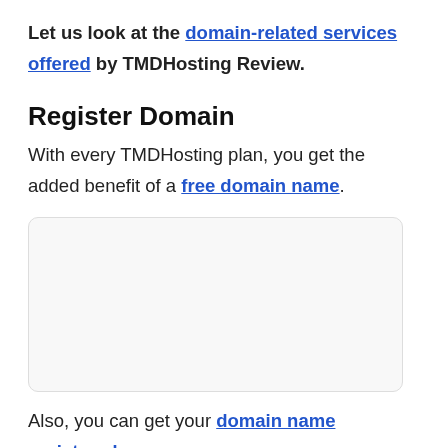Let us look at the domain-related services offered by TMDHosting Review.
Register Domain
With every TMDHosting plan, you get the added benefit of a free domain name.
[Figure (other): Empty white box with rounded corners and light border, likely placeholder for an image.]
Also, you can get your domain name registered